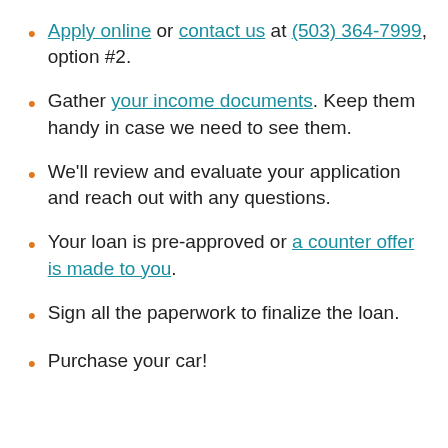Apply online or contact us at (503) 364-7999, option #2.
Gather your income documents. Keep them handy in case we need to see them.
We'll review and evaluate your application and reach out with any questions.
Your loan is pre-approved or a counter offer is made to you.
Sign all the paperwork to finalize the loan.
Purchase your car!